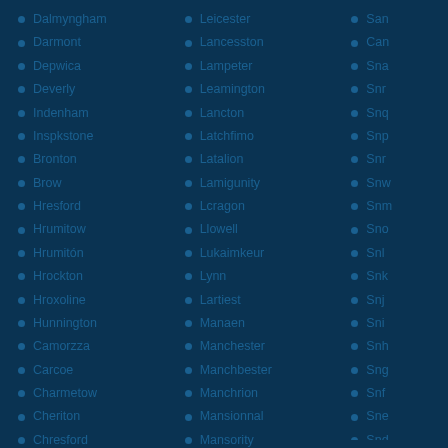Dalmyngham
Darmont
Depwica
Deverly
Indenham
Inspkstone
Bronton
Brow
Hresford
Hrumitow
Hrumitón
Hrockton
Hroxoline
Hunnington
Camorzza
Carcoe
Charmetow
Cheriton
Chresford
Leicester
Lancesston
Lampeter
Leamington
Lancton
Latchfimo
Latalion
Lamigunity
Lcragon
Llowell
Lukaimkeur
Lynn
Lartiest
Manaen
Manchester
Manchbester
Manchrion
Mansionnal
Mansority